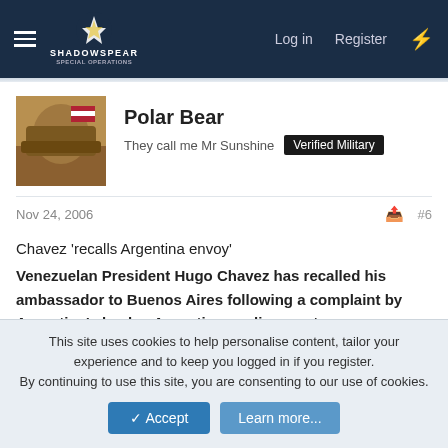SHADOWSPEAR — Log in   Register
Polar Bear
They call me Mr Sunshine  Verified Military
Nov 24, 2006  #6
Chavez 'recalls Argentina envoy'
Venezuelan President Hugo Chavez has recalled his ambassador to Buenos Aires following a complaint by Argentina's leader, Argentine media report.

President Nestor Kirchner is said to have contacted Mr Chavez over the conduct of ambassador Roger Capella.
Mr Capella is accused of supporting former Housing Secretary
This site uses cookies to help personalise content, tailor your experience and to keep you logged in if you register.
By continuing to use this site, you are consenting to our use of cookies.
✓ Accept   Learn more...